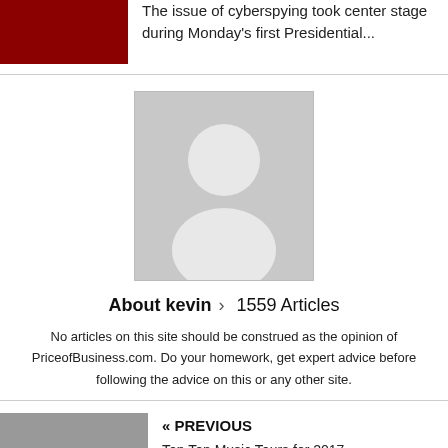[Figure (photo): Dark red/maroon thumbnail image at top left]
The issue of cyberspying took center stage during Monday's first Presidential...
[Figure (photo): Generic person avatar/placeholder image in grey]
About kevin > 1559 Articles
No articles on this site should be construed as the opinion of PriceofBusiness.com. Do your homework, get expert advice before following the advice on this or any other site.
[Figure (photo): Thumbnail of person at desk with papers and water bottle]
« PREVIOUS
Top Ten Music Tours for 2017